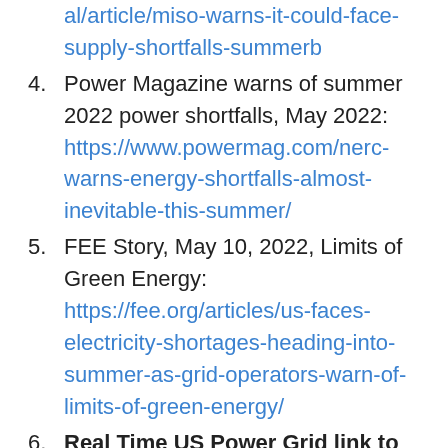al/article/miso-warns-it-could-face-supply-shortfalls-summerb (URL continuation)
4. Power Magazine warns of summer 2022 power shortfalls, May 2022: https://www.powermag.com/nerc-warns-energy-shortfalls-almost-inevitable-this-summer/
5. FEE Story, May 10, 2022, Limits of Green Energy: https://fee.org/articles/us-faces-electricity-shortages-heading-into-summer-as-grid-operators-warn-of-limits-of-green-energy/
6. Real Time US Power Grid link to